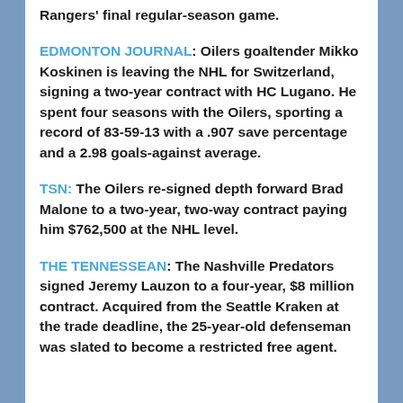Rangers' final regular-season game.
EDMONTON JOURNAL: Oilers goaltender Mikko Koskinen is leaving the NHL for Switzerland, signing a two-year contract with HC Lugano. He spent four seasons with the Oilers, sporting a record of 83-59-13 with a .907 save percentage and a 2.98 goals-against average.
TSN: The Oilers re-signed depth forward Brad Malone to a two-year, two-way contract paying him $762,500 at the NHL level.
THE TENNESSEAN: The Nashville Predators signed Jeremy Lauzon to a four-year, $8 million contract. Acquired from the Seattle Kraken at the trade deadline, the 25-year-old defenseman was slated to become a restricted free agent.